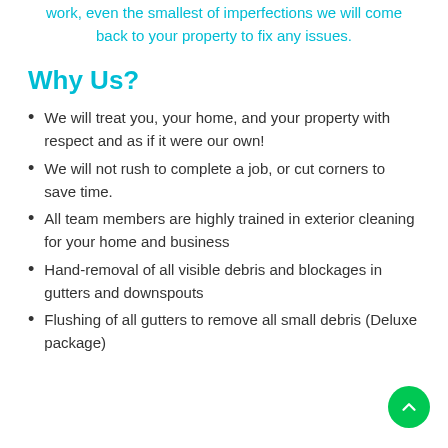work, even the smallest of imperfections we will come back to your property to fix any issues.
Why Us?
We will treat you, your home, and your property with respect and as if it were our own!
We will not rush to complete a job, or cut corners to save time.
All team members are highly trained in exterior cleaning for your home and business
Hand-removal of all visible debris and blockages in gutters and downspouts
Flushing of all gutters to remove all small debris (Deluxe package)